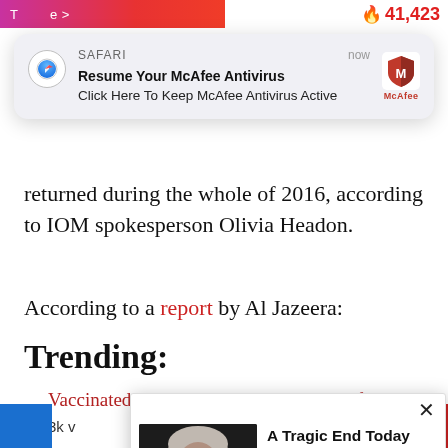Trending  e >  🔥41,423
[Figure (screenshot): Safari browser notification popup showing: 'Resume Your McAfee Antivirus / Click Here To Keep McAfee Antivirus Active' with McAfee logo, labeled 'SAFARI now']
returned during the whole of 2016, according to IOM spokesperson Olivia Headon.
According to a report by Al Jazeera:
Trending:
Vaccinated blood is tainted blood, study finds
3k v
[Figure (screenshot): Ad popup overlay showing photo of Willie Nelson (elderly man with long grey hair) alongside text: 'A Tragic End Today For Willie Nelson' and subtitle 'Breaking News', with a close (×) button]